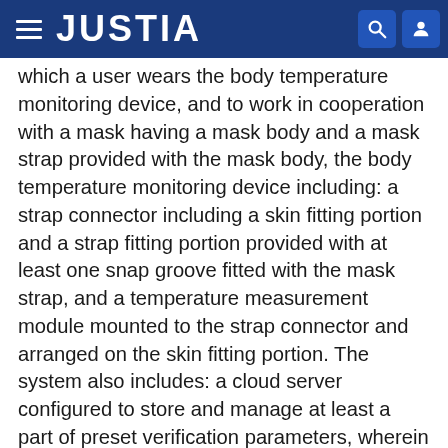JUSTIA
which a user wears the body temperature monitoring device, and to work in cooperation with a mask having a mask body and a mask strap provided with the mask body, the body temperature monitoring device including: a strap connector including a skin fitting portion and a strap fitting portion provided with at least one snap groove fitted with the mask strap, and a temperature measurement module mounted to the strap connector and arranged on the skin fitting portion. The system also includes: a cloud server configured to store and manage at least a part of preset verification parameters, wherein the preset verification parameters at least include identity information and historical body temperature data corresponding to the identity information, and the part of the preset verification parameters includes the historical body